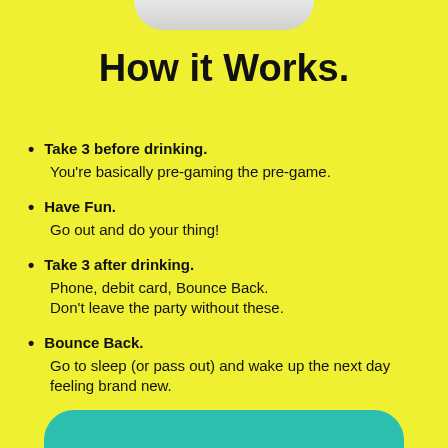[Figure (photo): Bottom portion of a product container (pill bottle or supplement container) shown at the top of the page, white/gray curved bottom edge visible against yellow background.]
How it Works.
Take 3 before drinking. You're basically pre-gaming the pre-game.
Have Fun. Go out and do your thing!
Take 3 after drinking. Phone, debit card, Bounce Back. Don't leave the party without these.
Bounce Back. Go to sleep (or pass out) and wake up the next day feeling brand new.